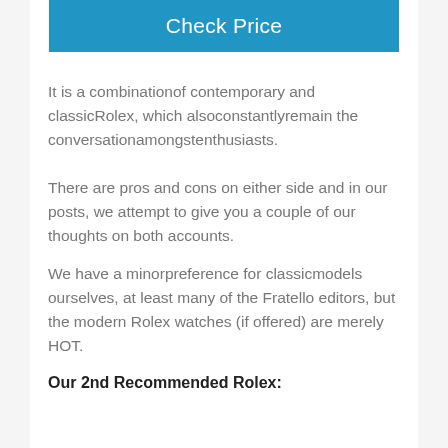[Figure (other): Blue 'Check Price' button]
It is a combinationof contemporary and classicRolex, which alsoconstantlyremain the conversationamongstenthusiasts.
There are pros and cons on either side and in our posts, we attempt to give you a couple of our thoughts on both accounts.
We have a minorpreference for classicmodels ourselves, at least many of the Fratello editors, but the modern Rolex watches (if offered) are merely HOT.
Our 2nd Recommended Rolex: